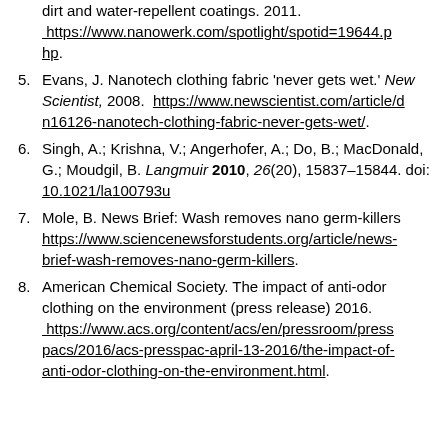dirt and water-repellent coatings. 2011. https://www.nanowerk.com/spotlight/spotid=19644.php.
5. Evans, J. Nanotech clothing fabric 'never gets wet.' New Scientist, 2008. https://www.newscientist.com/article/dn16126-nanotech-clothing-fabric-never-gets-wet/.
6. Singh, A.; Krishna, V.; Angerhofer, A.; Do, B.; MacDonald, G.; Moudgil, B. Langmuir 2010, 26(20), 15837-15844. doi: 10.1021/la100793u
7. Mole, B. News Brief: Wash removes nano germ-killers https://www.sciencenewsforstudents.org/article/news-brief-wash-removes-nano-germ-killers.
8. American Chemical Society. The impact of anti-odor clothing on the environment (press release) 2016. https://www.acs.org/content/acs/en/pressroom/presspacs/2016/acs-presspac-april-13-2016/the-impact-of-anti-odor-clothing-on-the-environment.html.